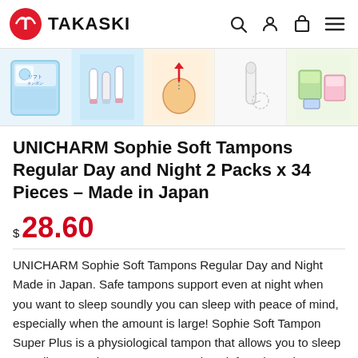TAKASKI
[Figure (screenshot): Strip of 5 product thumbnail images showing tampons and packaging]
UNICHARM Sophie Soft Tampons Regular Day and Night 2 Packs x 34 Pieces – Made in Japan
$ 28.60
UNICHARM Sophie Soft Tampons Regular Day and Night Made in Japan. Safe tampons support even at night when you want to sleep soundly you can sleep with peace of mind, especially when the amount is large! Sophie Soft Tampon Super Plus is a physiological tampon that allows you to sleep soundly even when you cannot replace it for a long time or